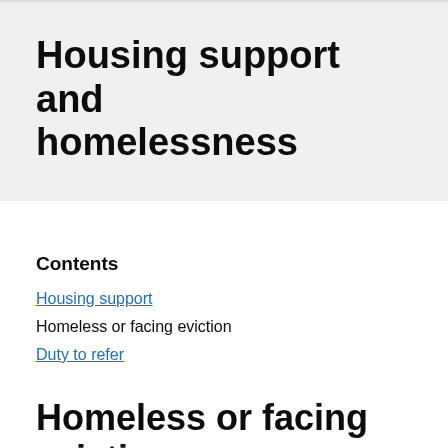Housing support and homelessness
Contents
Housing support
Homeless or facing eviction
Duty to refer
Homeless or facing eviction